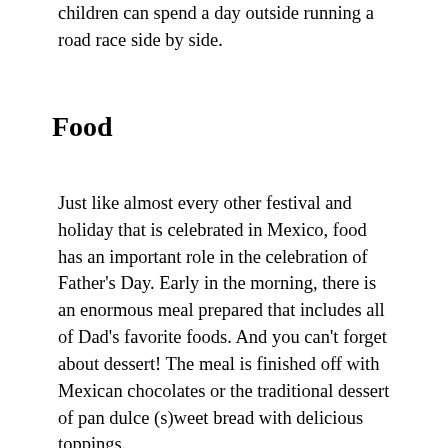children can spend a day outside running a road race side by side.
Food
Just like almost every other festival and holiday that is celebrated in Mexico, food has an important role in the celebration of Father's Day. Early in the morning, there is an enormous meal prepared that includes all of Dad's favorite foods. And you can't forget about dessert! The meal is finished off with Mexican chocolates or the traditional dessert of pan dulce (s)weet bread with delicious toppings.